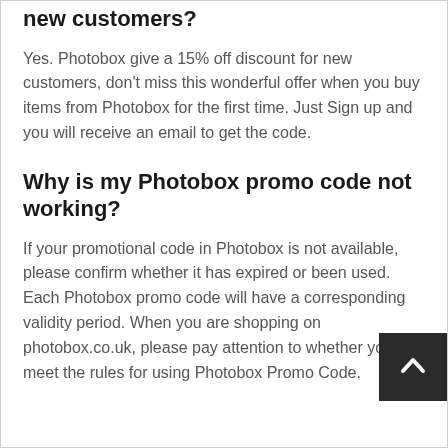new customers?
Yes. Photobox give a 15% off discount for new customers, don't miss this wonderful offer when you buy items from Photobox for the first time. Just Sign up and you will receive an email to get the code.
Why is my Photobox promo code not working?
If your promotional code in Photobox is not available, please confirm whether it has expired or been used. Each Photobox promo code will have a corresponding validity period. When you are shopping on photobox.co.uk, please pay attention to whether you meet the rules for using Photobox Promo Code.